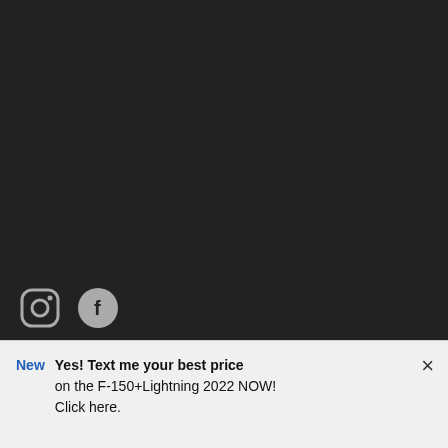[Figure (screenshot): Dark background area representing upper portion of a webpage]
[Figure (logo): Instagram icon (rounded square outline) and Facebook icon (circle with f), both in grey on dark background]
Useful buying tools
Request price
[Figure (infographic): Blue button with circular arrows icon and text 'VALUE YOUR TRADE!']
ons
Show me more...
New
Yes! Text me your best price on the F-150+Lightning 2022 NOW! Click here.
×